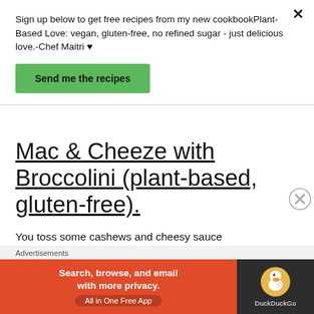Sign up below to get free recipes from my new cookbookPlant-Based Love: vegan, gluten-free, no refined sugar - just delicious love.-Chef Maitri ♥
Send me the recipes
Mac & Cheeze with Broccolini (plant-based, gluten-free).
You toss some cashews and cheesy sauce ingredients into a blender, boil the pasta and
Advertisements
[Figure (screenshot): DuckDuckGo advertisement banner: orange section with text 'Search, browse, and email with more privacy. All in One Free App' and dark section with DuckDuckGo duck logo and brand name]